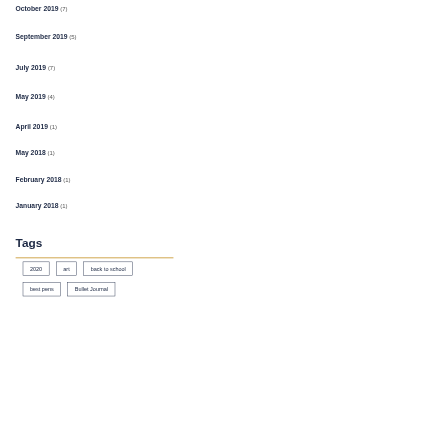October 2019 (7)
September 2019 (5)
July 2019 (7)
May 2019 (4)
April 2019 (1)
May 2018 (1)
February 2018 (1)
January 2018 (1)
Tags
2020
art
back to school
best pens
Bullet Journal